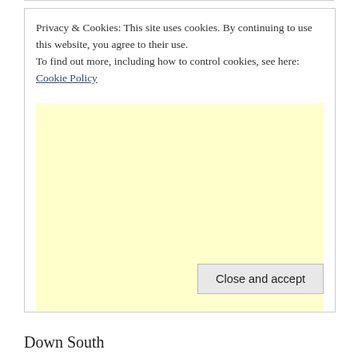Privacy & Cookies: This site uses cookies. By continuing to use this website, you agree to their use.
To find out more, including how to control cookies, see here: Cookie Policy
[Figure (other): Light yellow advertisement placeholder block]
Close and accept
Down South